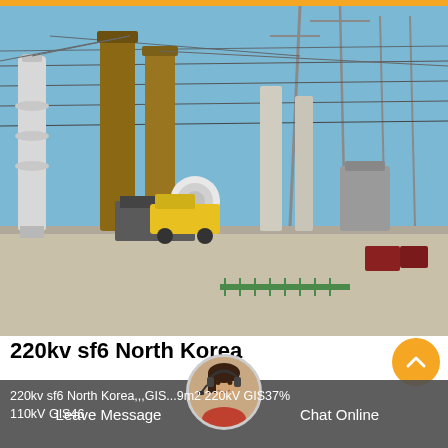[Figure (photo): Outdoor electrical substation with large high-voltage transformers, circuit breakers, and overhead transmission line structures. Yellow crane/vehicle visible. Clear blue sky background. GIS/SF6 switchgear installation.]
220kv sf6 North Korea
220kv sf6 North Korea,,,GIS...9m2 220kV GIS37% 110kV GIS46
[Figure (photo): Customer service avatar - woman wearing headset]
Leave Message
Chat Online